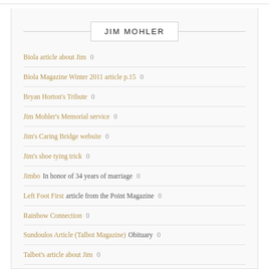JIM MOHLER
Biola article about Jim 0
Biola Magazine Winter 2011 article p.15 0
Bryan Horton's Tribute 0
Jim Mohler's Memorial service 0
Jim's Caring Bridge website 0
Jim's shoe tying trick 0
Jimbo In honor of 34 years of marriage 0
Left Foot First article from the Point Magazine 0
Rainbow Connection 0
Sundoulos Article (Talbot Magazine) Obituary 0
Talbot's article about Jim 0